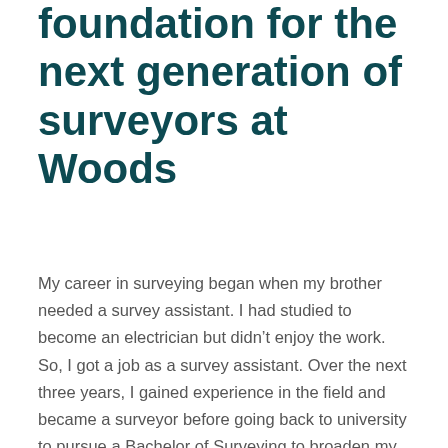foundation for the next generation of surveyors at Woods
My career in surveying began when my brother needed a survey assistant. I had studied to become an electrician but didn't enjoy the work. So, I got a job as a survey assistant. Over the next three years, I gained experience in the field and became a surveyor before going back to university to pursue a Bachelor of Surveying to broaden my options within the industry. Since then, I've worked on a diverse range of